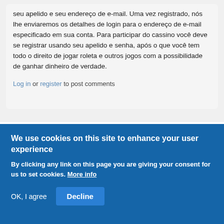seu apelido e seu endereço de e-mail. Uma vez registrado, nós lhe enviaremos os detalhes de login para o endereço de e-mail especificado em sua conta. Para participar do cassino você deve se registrar usando seu apelido e senha, após o que você tem todo o direito de jogar roleta e outros jogos com a possibilidade de ganhar dinheiro de verdade.
Log in or register to post comments
We use cookies on this site to enhance your user experience
By clicking any link on this page you are giving your consent for us to set cookies. More info
OK, I agree  Decline